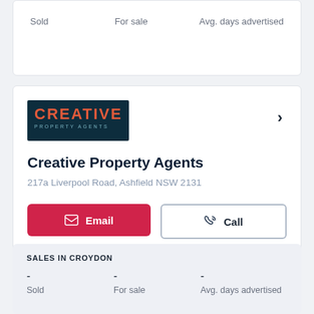| Sold | For sale | Avg. days advertised |
| --- | --- | --- |
[Figure (logo): Creative Property Agents logo — dark teal background with orange CREATIVE text and teal PROPERTY AGENTS subtext]
Creative Property Agents
217a Liverpool Road, Ashfield NSW 2131
Email  Call
SALES IN CROYDON
| Sold | For sale | Avg. days advertised |
| --- | --- | --- |
| - | - | - |